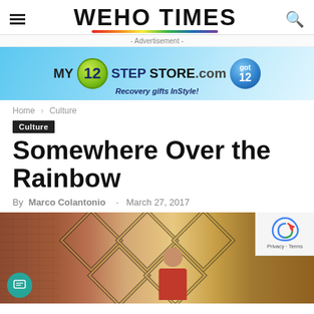WEHO TIMES
[Figure (illustration): Advertisement banner for My 12 Step Store.com with blue gradient background and green 12 ball logo]
Home › Culture
Culture
Somewhere Over the Rainbow
By Marco Colantonio - March 27, 2017
[Figure (photo): Person standing in front of a decorative geometric diamond pattern wall with fountain, wearing red shirt]